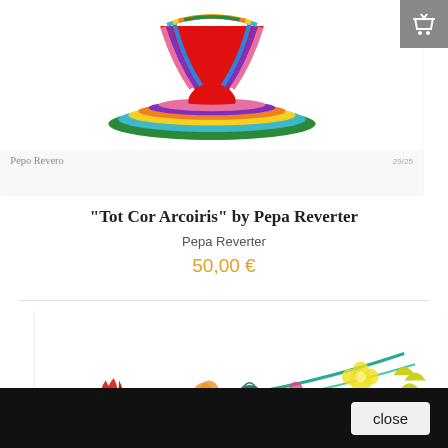[Figure (illustration): Colorful rainbow hourglass/vase artwork by Pepa Reverter, with signature 'Pepa Reverter' and edition '29/25' at bottom]
"Tot Cor Arcoiris" by Pepa Reverter
Pepa Reverter
50,00 €
[Figure (illustration): Colorful floral artwork with flowers in red, pink, orange, yellow and teal on white background]